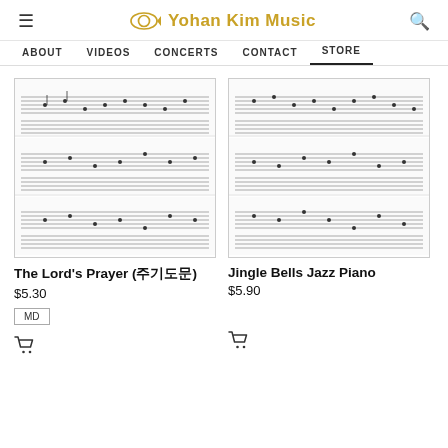Yohan Kim Music
ABOUT  VIDEOS  CONCERTS  CONTACT  STORE
[Figure (illustration): Sheet music preview for The Lord's Prayer]
The Lord's Prayer (주기도문)
$5.30
MD
[Figure (illustration): Sheet music preview for Jingle Bells Jazz Piano]
Jingle Bells Jazz Piano
$5.90